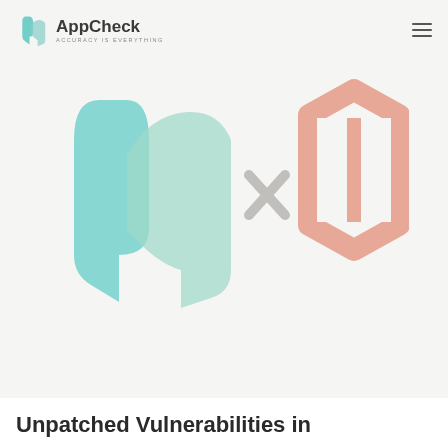AppCheck — ACCURACY IS EVERYTHING
[Figure (illustration): AppCheck logo mark (teal/green checkmark and pin icon) crossed with Magento logo (salmon/pink hexagonal M icon), with a grey X symbol between them, on a light grey background.]
Unpatched Vulnerabilities in